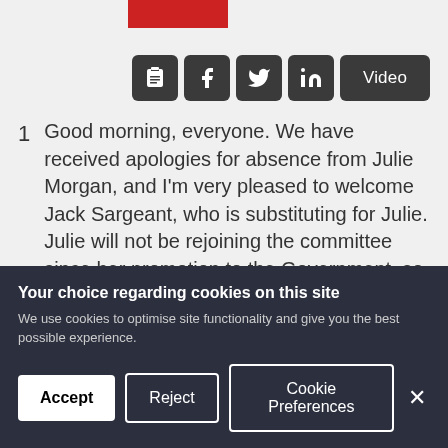[Figure (photo): Partial top of page image with red element visible at top]
[Figure (infographic): Social sharing icons: clipboard/list, Facebook, Twitter, LinkedIn, and Video button]
1  Good morning, everyone. We have received apologies for absence from Julie Morgan, and I'm very pleased to welcome Jack Sargeant, who is substituting for Julie. Julie will not be rejoining the committee since her promotion to the Government, so I'm sure Members would want me to congratulate Julie and also that we'd want to place on record our thanks to her for her hard work as a very long-standing member of this committee. So on behalf the...
Your choice regarding cookies on this site
We use cookies to optimise site functionality and give you the best possible experience.